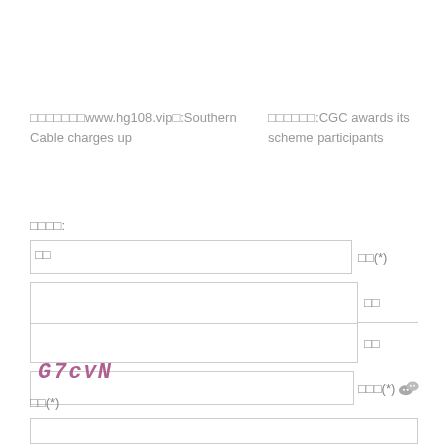□□□□□□□www.hg108.vip□:Southern Cable charges up
□□□□□□:CGC awards its scheme participants
□□□□:
| □□ | □□(*) |
|  | □□ |
|  | □□ |
|  | □□□(*) |
[Figure (other): CAPTCHA image showing text: G7cVN in purple/pink italic font]
□□(*)